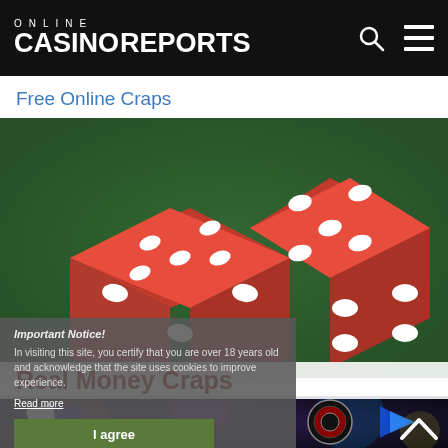ONLINE CASINOREPORTS
Free Online Craps
[Figure (photo): Close-up photo of two red casino dice on a green felt surface]
Important Notice!
In visiting this site, you certify that you are over 18 years old and acknowledge that the site uses cookies to improve experience.
Read more
I agree
Real Money Craps
[Figure (photo): Colorful casino themed image with playing cards, chips, and roulette wheel on dark background]